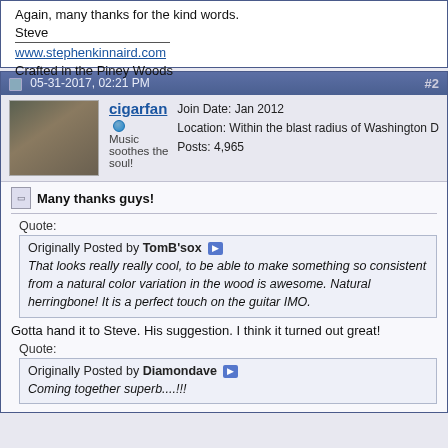Again, many thanks for the kind words.
Steve
www.stephenkinnaird.com
Crafted in the Piney Woods
05-31-2017, 02:21 PM    #2
cigarfan
Music soothes the soul!
Join Date: Jan 2012
Location: Within the blast radius of Washington D
Posts: 4,965
Many thanks guys!
Quote:
Originally Posted by TomB'sox
That looks really really cool, to be able to make something so consistent from a natural color variation in the wood is awesome. Natural herringbone! It is a perfect touch on the guitar IMO.
Gotta hand it to Steve. His suggestion. I think it turned out great!
Quote:
Originally Posted by Diamondave
Coming together superb....!!!